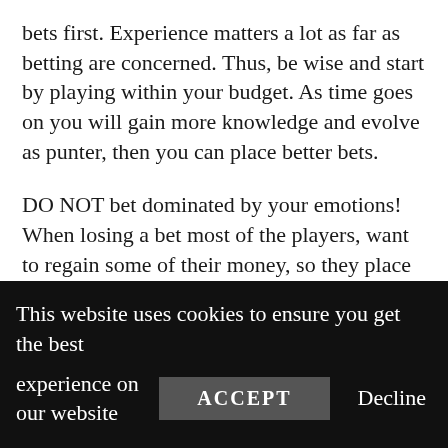bets first. Experience matters a lot as far as betting are concerned. Thus, be wise and start by playing within your budget. As time goes on you will gain more knowledge and evolve as punter, then you can place better bets.
DO NOT bet dominated by your emotions! When losing a bet most of the players, want to regain some of their money, so they place even more bets. Biggest mistake!
If you want to be successful and make some money betting on these games, you need to show
This website uses cookies to ensure you get the best experience on our website  ACCEPT  Decline